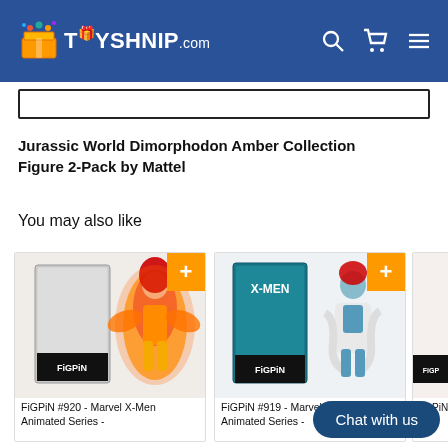TOYSHNIP.com
[Figure (screenshot): Search bar input field]
Jurassic World Dimorphodon Amber Collection Figure 2-Pack by Mattel
You may also like
[Figure (photo): FiGPiN #920 - Marvel X-Men Animated Series product card showing Dark Phoenix figure in packaging]
FiGPiN #920 - Marvel X-Men Animated Series -
[Figure (photo): FiGPiN #919 - Marvel X-Men Animated Series product card showing Mystique figure in packaging]
FiGPiN #919 - Marvel X-Men Animated Series -
[Figure (photo): FiGPiN - Bryce H partial product card]
FiGPiN - Bryce H